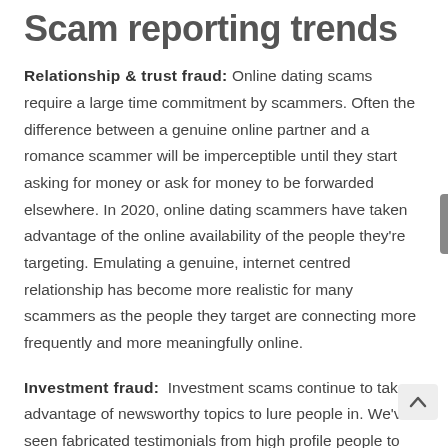Scam reporting trends
Relationship & trust fraud: Online dating scams require a large time commitment by scammers. Often the difference between a genuine online partner and a romance scammer will be imperceptible until they start asking for money or ask for money to be forwarded elsewhere. In 2020, online dating scammers have taken advantage of the online availability of the people they’re targeting. Emulating a genuine, internet centred relationship has become more realistic for many scammers as the people they target are connecting more frequently and more meaningfully online.
Investment fraud: Investment scams continue to take advantage of newsworthy topics to lure people in. We’ve seen fabricated testimonials from high profile people to sell cryptocurrencies and